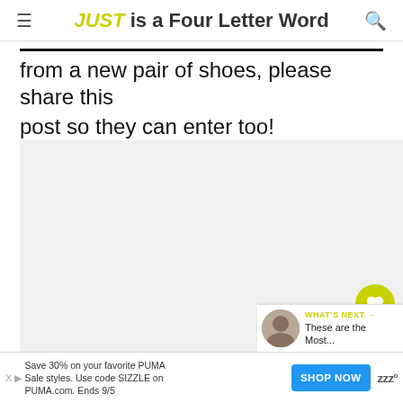JUST is a Four Letter Word
from a new pair of shoes, please share this post so they can enter too!
[Figure (other): Embedded social media or widget content placeholder area with light gray background]
[Figure (other): Like button (heart icon, yellow/green circle) with count 764, and share button (white circle)]
WHAT'S NEXT → These are the Most...
Save 30% on your favorite PUMA Sale styles. Use code SIZZLE on PUMA.com. Ends 9/5
SHOP NOW